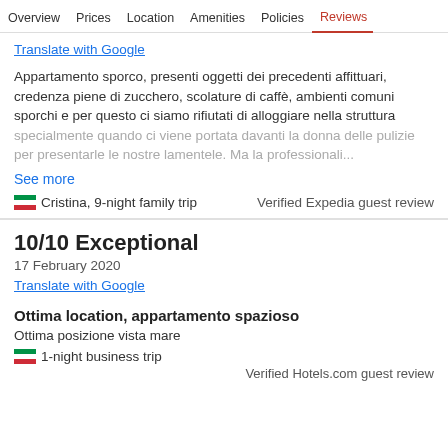Overview  Prices  Location  Amenities  Policies  Reviews
Translate with Google
Appartamento sporco, presenti oggetti dei precedenti affittuari, credenza piene di zucchero, scolature di caffè, ambienti comuni sporchi e per questo ci siamo rifiutati di alloggiare nella struttura specialmente quando ci viene portata davanti la donna delle pulizie per presentarle le nostre lamentele. Ma la professionali...
See more
Cristina, 9-night family trip
Verified Expedia guest review
10/10 Exceptional
17 February 2020
Translate with Google
Ottima location, appartamento spazioso
Ottima posizione vista mare
1-night business trip
Verified Hotels.com guest review